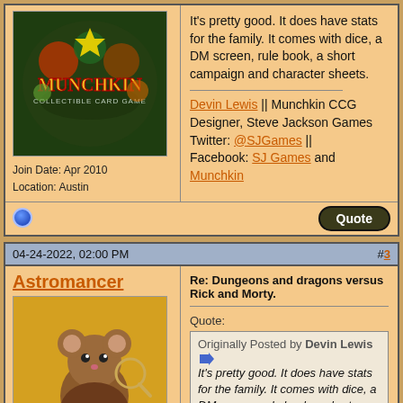[Figure (photo): Munchkin Collectible Card Game logo/artwork on dark green background]
Join Date: Apr 2010
Location: Austin
It's pretty good. It does have stats for the family. It comes with dice, a DM screen, rule book, a short campaign and character sheets.
Devin Lewis || Munchkin CCG Designer, Steve Jackson Games
Twitter: @SJGames || Facebook: SJ Games and Munchkin
04-24-2022, 02:00 PM
#3
Astromancer
[Figure (illustration): Mouse character in brown coat holding a magnifying glass with text 'Not Evil Just Genius!']
Join Date: Jul 2007
Location: West Virginia
Re: Dungeons and dragons versus Rick and Morty.
Quote:
Originally Posted by Devin Lewis
It's pretty good. It does have stats for the family. It comes with dice, a DM screen, rule book, a short campaign and